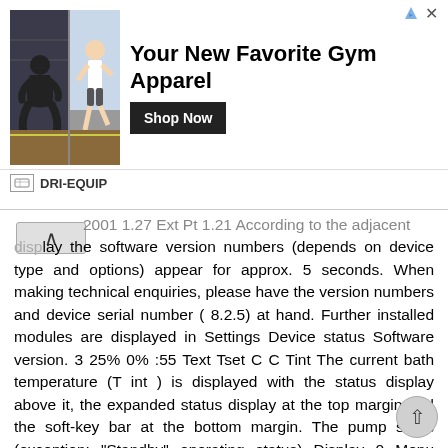[Figure (screenshot): Advertisement banner for DRI-EQUIP gym apparel showing two athletes on a track, headline 'Your New Favorite Gym Apparel', and a 'Shop Now' button]
2001 1.27 Ext Pt 1.21 According to the adjacent display the software version numbers (depends on device type and options) appear for approx. 5 seconds. When making technical enquiries, please have the version numbers and device serial number ( 8.2.5) at hand. Further installed modules are displayed in Settings Device status Software version. 3 25% 0% :55 Text Tset C C Tint The current bath temperature (T int ) is displayed with the status display above it, the expanded status display at the top margin and the soft-key bar at the bottom margin. The pump starts (exception: "Standby" operating status) Display 0 Menu Standby :57 3 Standby Text Tset C C Tint When standby is activated ( 7.4.4), the last operating values are taken over Display 0 Menu Standby 3 25% 0% Tmax 200 C :58 Tint With the key T max you check or change the overtemperature switch-off point: On pressing the key T max the value in the upper line is displayed. (Setting the overtemperature switch-off point T max (